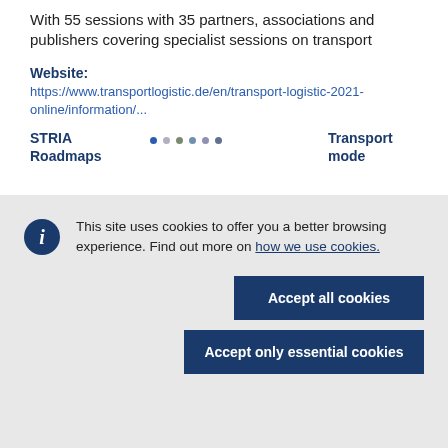With 55 sessions with 35 partners, associations and publishers covering specialist sessions on transport
Website: https://www.transportlogistic.de/en/transport-logistic-2021-online/information/...
STRIA Roadmaps · · · · · Transport mode ·
This site uses cookies to offer you a better browsing experience. Find out more on how we use cookies.
Accept all cookies
Accept only essential cookies